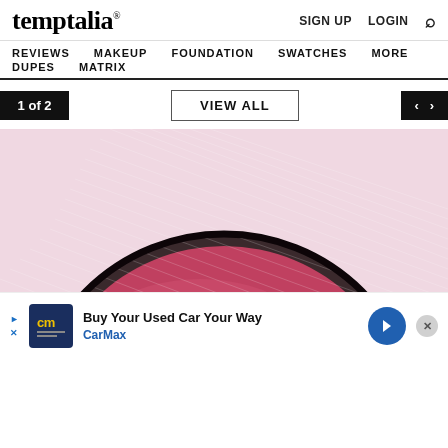temptalia® | SIGN UP  LOGIN  🔍
REVIEWS  MAKEUP  FOUNDATION  SWATCHES  MORE  DUPES  MATRIX
1 of 2   VIEW ALL   ‹ ›
[Figure (photo): Close-up macro photo of a round pressed powder blush pan with a textured, ribbed surface in a deep dusty rose / crimson-red color, set against a soft pink background. The pan is seen from above with the lower half of the circle visible.]
Buy Your Used Car Your Way | CarMax (advertisement)